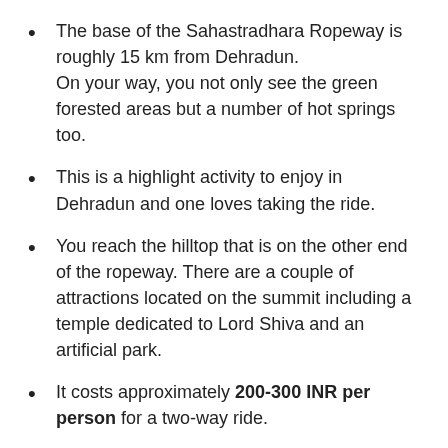The base of the Sahastradhara Ropeway is roughly 15 km from Dehradun. On your way, you not only see the green forested areas but a number of hot springs too.
This is a highlight activity to enjoy in Dehradun and one loves taking the ride.
You reach the hilltop that is on the other end of the ropeway. There are a couple of attractions located on the summit including a temple dedicated to Lord Shiva and an artificial park.
It costs approximately 200-300 INR per person for a two-way ride.
You can enjoy photography from the hilltop.
4. Guided hiking tour – Take a guided hike